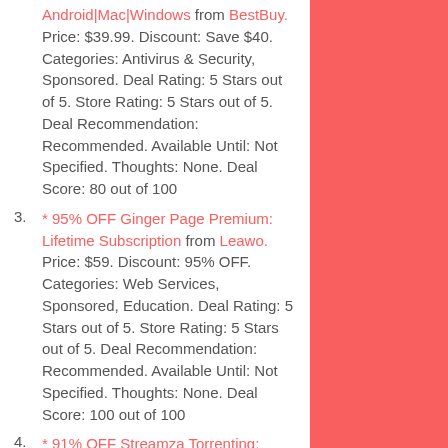Android|Mac|Windows from BestBuy. Price: $39.99. Discount: Save $40. Categories: Antivirus & Security, Sponsored. Deal Rating: 5 Stars out of 5. Store Rating: 5 Stars out of 5. Deal Recommendation: Recommended. Available Until: Not Specified. Thoughts: None. Deal Score: 80 out of 100
3. * 95% OFF Ginger Page Premium: Lifetime Subscription from Leawo. Price: $59. Discount: 95% OFF. Categories: Web Services, Sponsored, Education. Deal Rating: 5 Stars out of 5. Store Rating: 5 Stars out of 5. Deal Recommendation: Recommended. Available Until: Not Specified. Thoughts: None. Deal Score: 100 out of 100
4. * 91% OFF Streamza Torrenting: Lifetime License + Monthly Data Allowance from X-Mirage. Price: